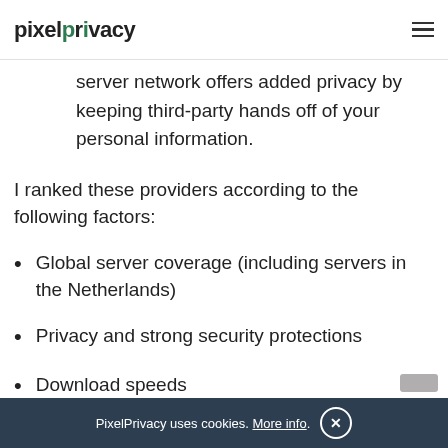pixelprivacy
server network offers added privacy by keeping third-party hands off of your personal information.
I ranked these providers according to the following factors:
Global server coverage (including servers in the Netherlands)
Privacy and strong security protections
Download speeds
PixelPrivacy uses cookies. More info.